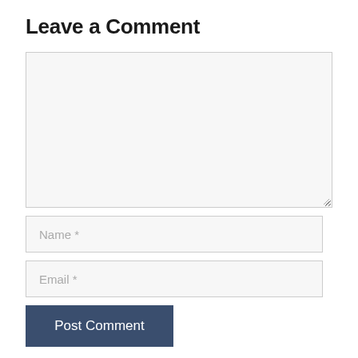Leave a Comment
[Figure (screenshot): A comment form with a large textarea, Name field, Email field, and Post Comment button]
Name *
Email *
Post Comment